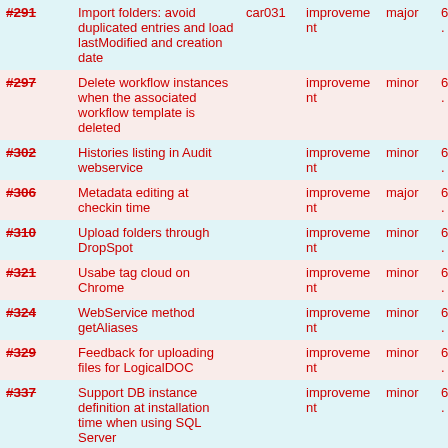| ID | Description | Assignee | Type | Priority | Version |
| --- | --- | --- | --- | --- | --- |
| #291 | Import folders: avoid duplicated entries and load lastModified and creation date | car031 | improvement | major | 6.x |
| #297 | Delete workflow instances when the associated workflow template is deleted |  | improvement | minor | 6.x |
| #302 | Histories listing in Audit webservice |  | improvement | minor | 6.x |
| #306 | Metadata editing at checkin time |  | improvement | major | 6.x |
| #310 | Upload folders through DropSpot |  | improvement | minor | 6.x |
| #321 | Usabe tag cloud on Chrome |  | improvement | minor | 6.x |
| #324 | WebService method getAliases |  | improvement | minor | 6.x |
| #329 | Feedback for uploading files for LogicalDOC |  | improvement | minor | 6.x |
| #337 | Support DB instance definition at installation time when using SQL Server |  | improvement | minor | 6.x |
| #340 | Display the folder from which security policies are inherited |  | improvement | minor | 7.x |